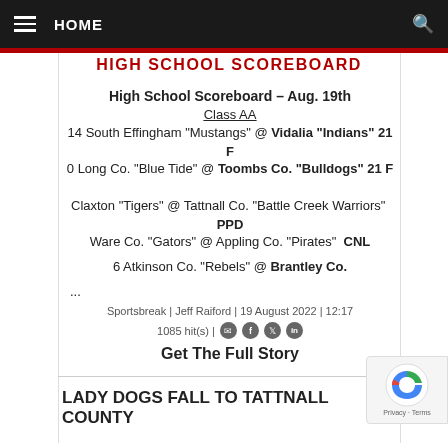HOME
HIGH SCHOOL SCOREBOARD
High School Scoreboard – Aug. 19th
Class AA
14 South Effingham "Mustangs" @ Vidalia "Indians" 21 F
0 Long Co. "Blue Tide" @ Toombs Co. "Bulldogs" 21 F
Claxton "Tigers" @ Tattnall Co. "Battle Creek Warriors"  PPD
Ware Co. "Gators" @ Appling Co. "Pirates"  CNL
6 Atkinson Co. "Rebels" @ Brantley Co.
...
Sportsbreak | Jeff Raiford | 19 August 2022 | 12:17
1085 hit(s) |
Get The Full Story
LADY DOGS FALL TO TATTNALL COUNTY